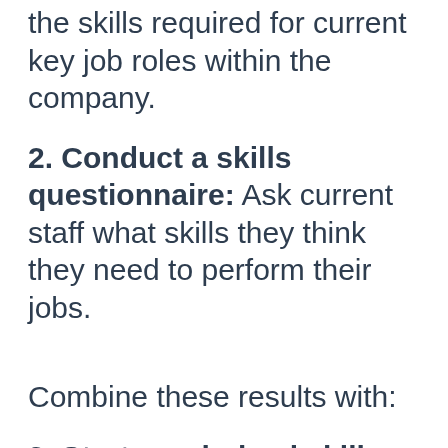the skills required for current key job roles within the company.
2. Conduct a skills questionnaire: Ask current staff what skills they think they need to perform their jobs.
Combine these results with:
3. Strategy-derived skills list: If the business has a one-year, five-year, or 'sometime-in-the-future' plan, use this to work backwards. Identify key areas your department will need to deliver